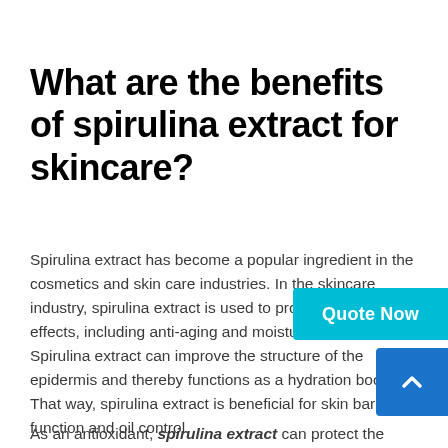What are the benefits of spirulina extract for skincare?
Spirulina extract has become a popular ingredient in the cosmetics and skin care industries. In the skincare industry, spirulina extract is used to provide a number of effects, including anti-aging and moisturizing benefits. Spirulina extract can improve the structure of the epidermis and thereby functions as a hydration booster. That way, spirulina extract is beneficial for skin barrier function and oil control.
As an antioxidant, spirulina extract can protect the